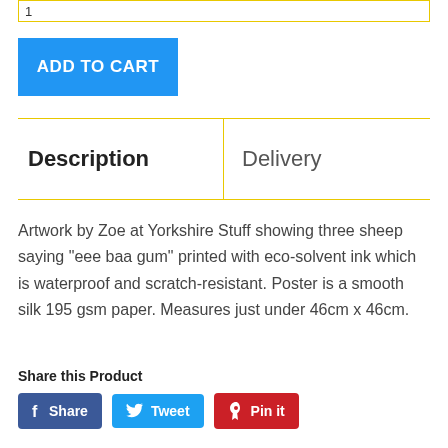[Figure (other): Quantity input box with yellow border showing value 1]
ADD TO CART
Description	Delivery
Artwork by Zoe at Yorkshire Stuff showing three sheep saying "eee baa gum" printed with eco-solvent ink which is waterproof and scratch-resistant. Poster is a smooth silk 195 gsm paper. Measures just under 46cm x 46cm.
Share this Product
Share  Tweet  Pin it